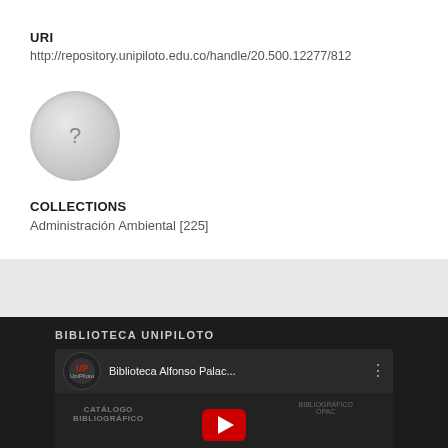URI
http://repository.unipiloto.edu.co/handle/20.500.12277/812
[Figure (illustration): Gray circular avatar placeholder with a question mark in the center]
COLLECTIONS
Administración Ambiental [225]
[Figure (screenshot): Dark footer section with BIBLIOTECA UNIPILOTO heading and a YouTube video thumbnail showing UniPiloto logo and title 'Biblioteca Alfonso Palac...' with a red play button, overlaid text 'CATÁLOGO BIBLIOGRÁFICO' and 'BIBLIOGRÁFICO OPAC']